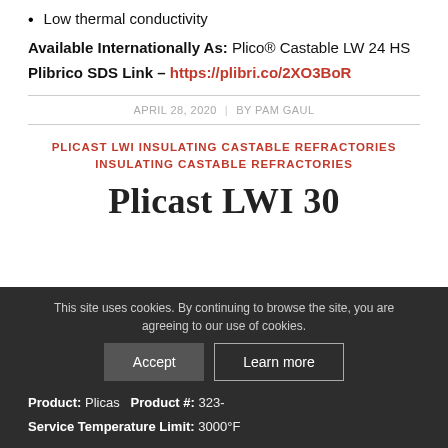Low thermal conductivity
Available Internationally As:  Plico® Castable LW 24 HS
Plibrico SDS Link – https://plibri.co/2XO3BoR
APRIL 28, 2020  |  BY PAM GAUL
PLICAST LWI INSULATING CASTABLE REFRACTORIES
INSULATING CASTABLE REFRACTORIES
Plicast LWI 30
This site uses cookies. By continuing to browse the site, you are agreeing to our use of cookies.
Product: Plicas...   Product #: 323-...   Service Temperature Limit: 3000°F